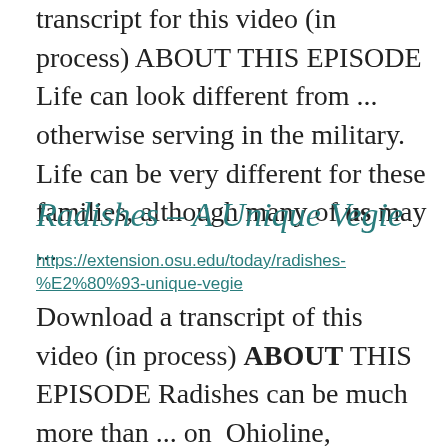transcript for this video (in process) ABOUT THIS EPISODE Life can look different from ... otherwise serving in the military. Life can be very different for these families, although many of us may ...
Radishes – A Unique Vegie
https://extension.osu.edu/today/radishes-%E2%80%93-unique-vegie
Download a transcript of this video (in process) ABOUT THIS EPISODE Radishes can be much more than ... on Ohioline, including info about how to properly store vegies such as radishes. Refrigerator Storage ... program shares a little more about radishes online...